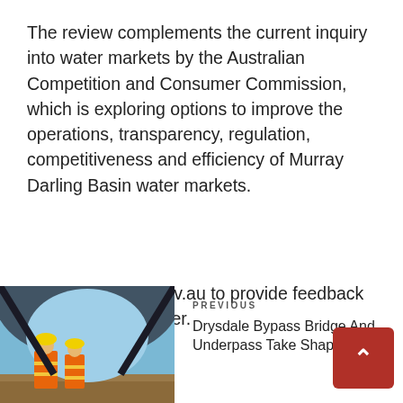The review complements the current inquiry into water markets by the Australian Competition and Consumer Commission, which is exploring options to improve the operations, transparency, regulation, competitiveness and efficiency of Murray Darling Basin water markets.
Visit engage.vic.gov.au to provide feedback on the options paper.
[Figure (photo): Photo of workers in hi-vis orange vests standing under a road bridge or tunnel structure, with sky visible in background]
PREVIOUS
Drysdale Bypass Bridge And Underpass Take Shape